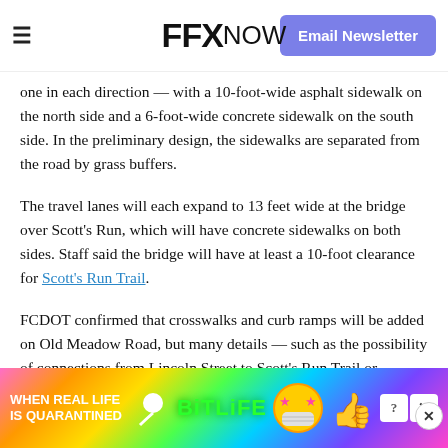FFX NOW | Email Newsletter
one in each direction — with a 10-foot-wide asphalt sidewalk on the north side and a 6-foot-wide concrete sidewalk on the south side. In the preliminary design, the sidewalks are separated from the road by grass buffers.
The travel lanes will each expand to 13 feet wide at the bridge over Scott's Run, which will have concrete sidewalks on both sides. Staff said the bridge will have at least a 10-foot clearance for Scott's Run Trail.
FCDOT confirmed that crosswalks and curb ramps will be added on Old Meadow Road, but many details — such as the possibility of connections from Lincoln Street to Scott's Run Trail or flashing beacons at the Westgate Elementary School — are still being finalized as the project...
[Figure (screenshot): Advertisement overlay: BitLife 'When Real Life Is Quarantined' mobile game ad with colorful rainbow background and cartoon emoji face]